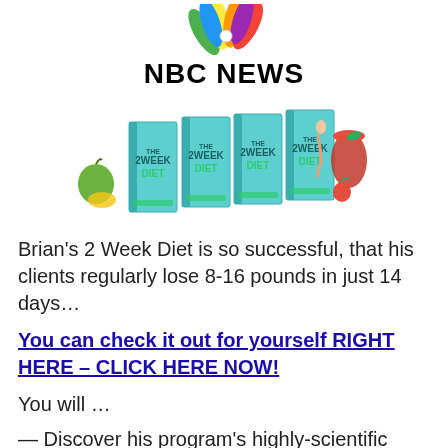[Figure (logo): NBC News logo with colorful peacock feathers graphic above bold text NBC NEWS]
[Figure (photo): Four copies of 'The 2 Week Diet' book covers arranged side by side, with a green apple, tape measure, and a red drink with strawberries on the sides]
Brian's 2 Week Diet is so successful, that his clients regularly lose 8-16 pounds in just 14 days…
You can check it out for yourself RIGHT HERE – CLICK HERE NOW!
You will …
— Discover his program's highly-scientific basis and why it works so well...